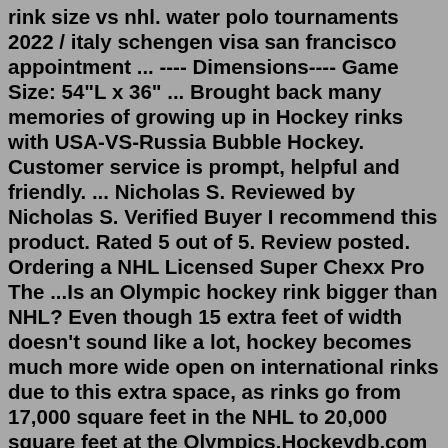rink size vs nhl. water polo tournaments 2022 / italy schengen visa san francisco appointment ... ---- Dimensions---- Game Size: 54"L x 36" ... Brought back many memories of growing up in Hockey rinks with USA-VS-Russia Bubble Hockey. Customer service is prompt, helpful and friendly. ... Nicholas S. Reviewed by Nicholas S. Verified Buyer I recommend this product. Rated 5 out of 5. Review posted. Ordering a NHL Licensed Super Chexx Pro The ...Is an Olympic hockey rink bigger than NHL? Even though 15 extra feet of width doesn't sound like a lot, hockey becomes much more wide open on international rinks due to this extra space, as rinks go from 17,000 square feet in the NHL to 20,000 square feet at the Olympics.Hockeydb.com is an archive for hockey statistics, hockey logos, and hockey cards. You will find more information here than is available in any other resource, either in print or on the internet. We have NHL statistics and logos as well as all other leagues including the WHA and minor league minimum skating rink size /a > skating in the